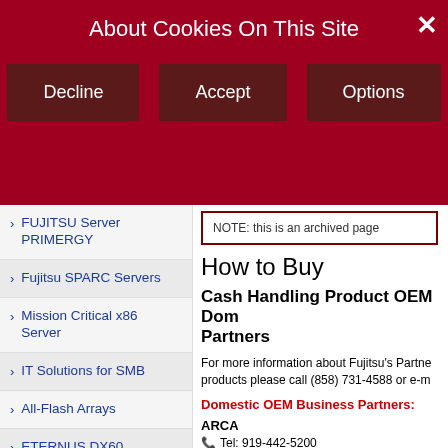About Cookies On This Site
Decline | Accept | Options
FUJITSU Server PRIMERGY
Fujitsu SPARC Servers
Mission Critical x86 Server
IT Solutions for SMB
All-Flash Arrays
ETERNUS DX60
Storage Cluster
ETERNUS DX100
ETERNUS DX200
NOTE: this is an archived page
How to Buy
Cash Handling Product OEM Domestic Business Partners
For more information about Fujitsu's Partner products please call (858) 731-4588 or e-m
Domestic OEM Business Partners:
ARCA
Tel: 919-442-5200
Fax: 919-882-9998
Website: http://www.arcatechsystems.com/
E-mail: info@arcatechsystems.com